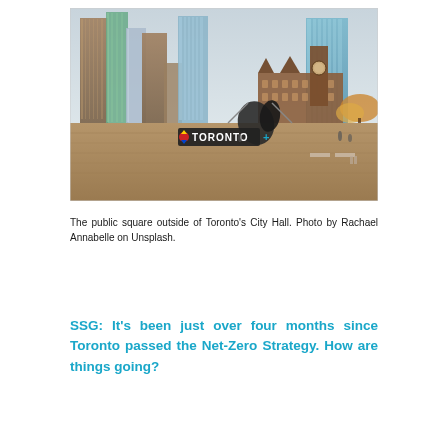[Figure (photo): Aerial view of the public square outside of Toronto's City Hall, showing the iconic Toronto sign, a large abstract sculpture, modern skyscrapers, and the historic Old City Hall building in the background.]
The public square outside of Toronto's City Hall. Photo by Rachael Annabelle on Unsplash.
SSG: It's been just over four months since Toronto passed the Net-Zero Strategy. How are things going?